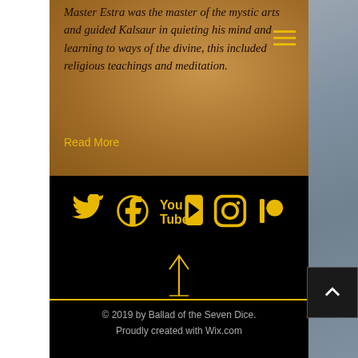Master Estra was the master of the mystic arts and guided Kalsaur in quieting his mind and learning to ways of the divine, this included religious teachings and meditation.
Read More
[Figure (infographic): Social media icons row: Twitter, Facebook, YouTube, Instagram, Patreon — all in gold/yellow on black background]
[Figure (infographic): Upward arrow icon in gold on black background]
© 2019 by Ballad of the Seven Dice. Proudly created with Wix.com